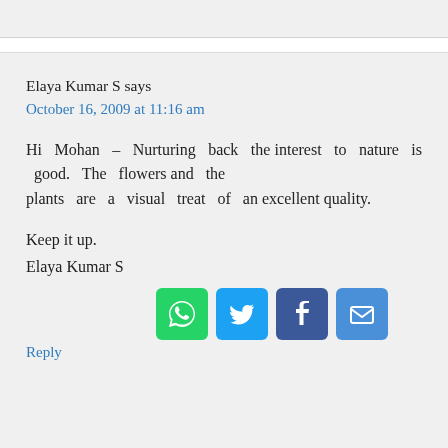Elaya Kumar S says
October 16, 2009 at 11:16 am
Hi Mohan – Nurturing back the interest to nature is good. The flowers and the plants are a visual treat of an excellent quality.
Keep it up.
Elaya Kumar S
[Figure (infographic): Social sharing icons: WhatsApp (green), Twitter (blue), Facebook (dark blue), Email (blue)]
Reply